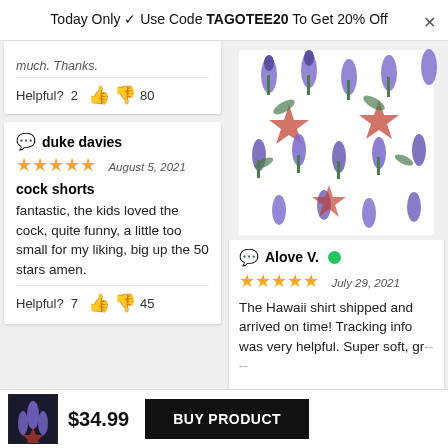Today Only 🏷 Use Code TAGOTEE20 To Get 20% Off
much. Thanks.
Helpful? 2 👍 👎 80
💬 duke davies
★★★★★   August 5, 2021
cork shorts
fantastic, the kids loved the cock, quite funny, a little too small for my liking, big up the 50 stars amen.
Helpful? 7 👍 👎 45
[Figure (photo): Photo of a floral Hawaiian shirt with Texas star and bluebonnet flower print pattern laid flat]
💬 Alove V. ✅
★★★★★   July 29, 2021
The Hawaii shirt shipped and arrived on time! Tracking info was very helpful. Super soft, gr---
$34.99
BUY PRODUCT